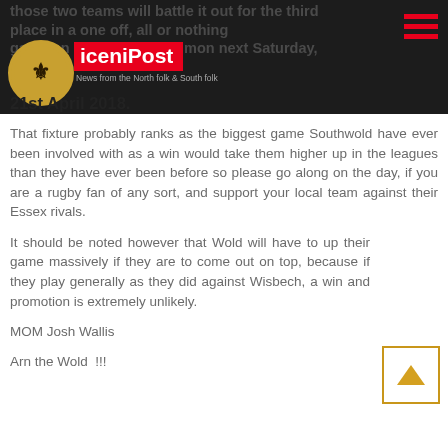those two teams will battle it out for the third place in a one off, all or nothing game on Southwold Common next Saturday, 21st April 2018.
That fixture probably ranks as the biggest game Southwold have ever been involved with as a win would take them higher up in the leagues than they have ever been before so please go along on the day, if you are a rugby fan of any sort, and support your local team against their Essex rivals.
It should be noted however that Wold will have to up their game massively if they are to come out on top, because if they play generally as they did against Wisbech, a win and promotion is extremely unlikely.
MOM Josh Wallis
Arn the Wold  !!!